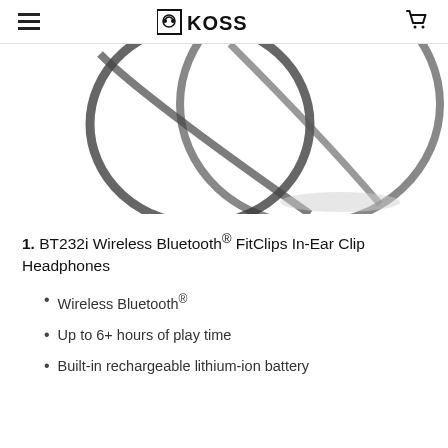KOSS
[Figure (photo): Partial view of Koss BT232i wireless Bluetooth FitClips In-Ear Clip Headphones showing the cable/earpiece structure on a white background]
1. BT232i Wireless Bluetooth® FitClips In-Ear Clip Headphones
Wireless Bluetooth®
Up to 6+ hours of play time
Built-in rechargeable lithium-ion battery